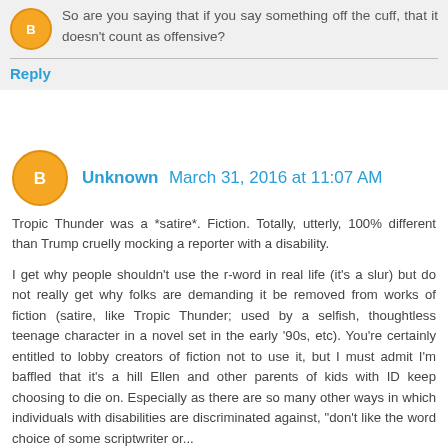So are you saying that if you say something off the cuff, that it doesn't count as offensive?
Reply
Unknown March 31, 2016 at 11:07 AM
Tropic Thunder was a *satire*. Fiction. Totally, utterly, 100% different than Trump cruelly mocking a reporter with a disability.

I get why people shouldn't use the r-word in real life (it's a slur) but do not really get why folks are demanding it be removed from works of fiction (satire, like Tropic Thunder; used by a selfish, thoughtless teenage character in a novel set in the early '90s, etc). You're certainly entitled to lobby creators of fiction not to use it, but I must admit I'm baffled that it's a hill Ellen and other parents of kids with ID keep choosing to die on. Especially as there are so many other ways in which individuals with disabilities are discriminated against, "don't like the word choice of some scriptwriter or...